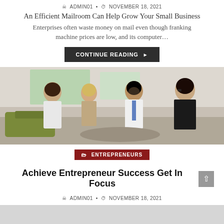ADMIN01 • NOVEMBER 18, 2021
An Efficient Mailroom Can Help Grow Your Small Business
Enterprises often waste money on mail even though franking machine prices are low, and its computer…
CONTINUE READING ▶
[Figure (photo): Four business professionals sitting in an informal meeting, smiling and engaging in conversation in a modern office setting.]
ENTREPRENEURS
Achieve Entrepreneur Success Get In Focus
ADMIN01 • NOVEMBER 18, 2021